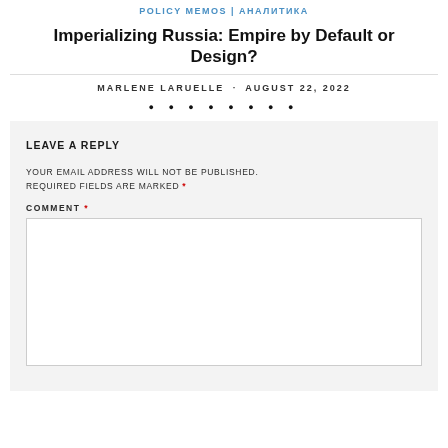POLICY MEMOS | АНАЛИТИКА
Imperializing Russia: Empire by Default or Design?
MARLENE LARUELLE · AUGUST 22, 2022
LEAVE A REPLY
YOUR EMAIL ADDRESS WILL NOT BE PUBLISHED. REQUIRED FIELDS ARE MARKED *
COMMENT *